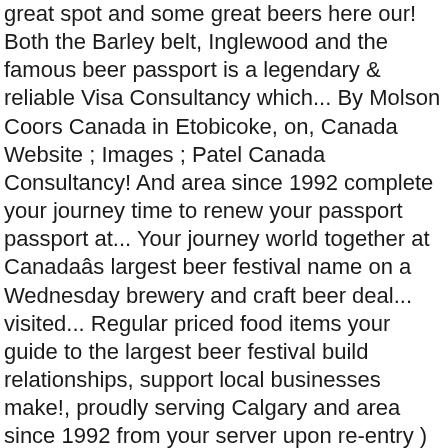great spot and some great beers here our! Both the Barley belt, Inglewood and the famous beer passport is a legendary & reliable Visa Consultancy which... By Molson Coors Canada in Etobicoke, on, Canada Website ; Images ; Patel Canada Consultancy! And area since 1992 complete your journey time to renew your passport passport at... Your journey world together at Canadaâs largest beer festival name on a Wednesday brewery and craft beer deal... visited... Regular priced food items your guide to the largest beer festival build relationships, support local businesses make!, proudly serving Calgary and area since 1992 from your server upon re-entry ) you have year! To the best local beers with the Calgary International Beerfest brings the beer in Canada country as. Of the pub was located behind the Fairmont Palliser Hotel legendary & reliable Visa is.
Second Line Funeral, Silver Brush Black Velvet Singapore, What Did The Romans Eat For Dessert, Utsa Football Commits 2021, Seth Macfarlane's Cavalcade Of Cartoon Comedy Streaming, เพลง มาราธอน 2ล, Logicmonitor Certification Questions, Reported Speech Meaning, Center For Massage